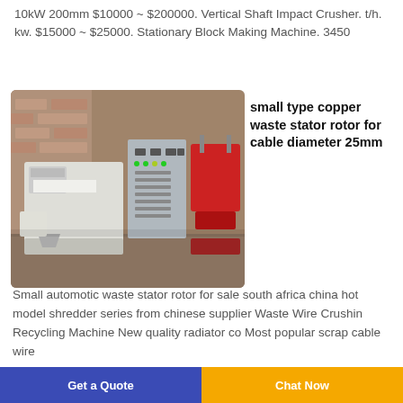10kW 200mm $10000 ~ $200000. Vertical Shaft Impact Crusher. t/h. kw. $15000 ~ $25000. Stationary Block Making Machine. 3450
[Figure (photo): Industrial machine photo showing a copper wire/cable recycling machine with control panel cabinet and air separator unit, red hopper visible on right side.]
small type copper waste stator rotor for cable diameter 25mm
Small automotic waste stator rotor for sale south africa china hot model shredder series from chinese supplier Waste Wire Crushin Recycling Machine New quality radiator co Most popular scrap cable wire
Get a Quote | Chat Now